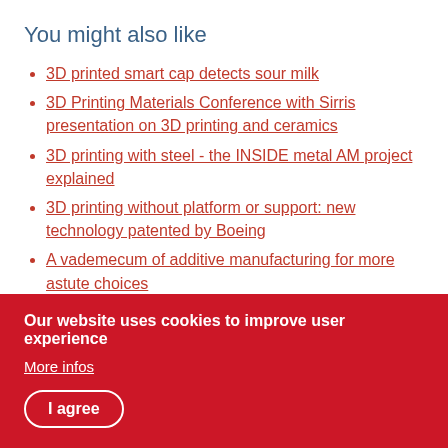You might also like
3D printed smart cap detects sour milk
3D Printing Materials Conference with Sirris presentation on 3D printing and ceramics
3D printing with steel - the INSIDE metal AM project explained
3D printing without platform or support: new technology patented by Boeing
A vademecum of additive manufacturing for more astute choices
More from this author
Our website uses cookies to improve user experience
More infos
I agree